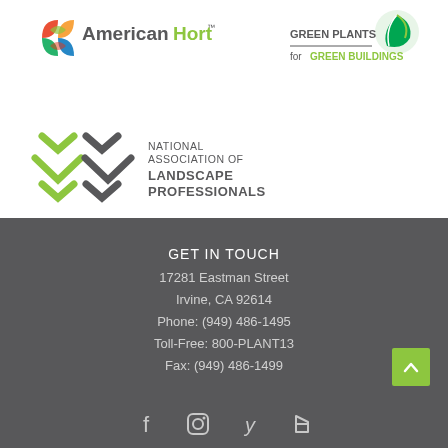[Figure (logo): AmericanHort logo with colorful plant icon and text 'AmericanHort' in grey and green]
[Figure (logo): Green Plants for Green Buildings logo with green leaf icon]
[Figure (logo): National Association of Landscape Professionals logo with X pattern arrows in green and grey text]
GET IN TOUCH
17281 Eastman Street
Irvine, CA 92614
Phone: (949) 486-1495
Toll-Free: 800-PLANT13
Fax: (949) 486-1499
[Figure (infographic): Social media icons: Facebook, Instagram, Yelp, Houzz]